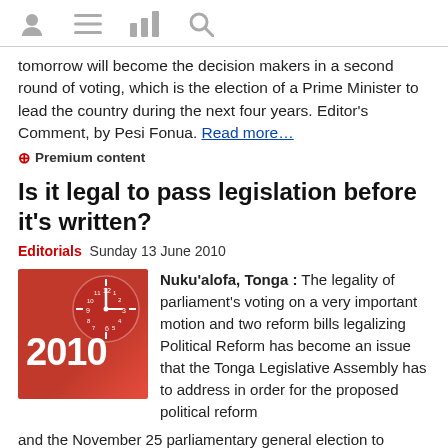[icons: user, menu, chart, search]
tomorrow will become the decision makers in a second round of voting, which is the election of a Prime Minister to lead the country during the next four years. Editor's Comment, by Pesi Fonua. Read more…
⊕ Premium content
Is it legal to pass legislation before it's written?
Editorials  Sunday 13 June 2010
[Figure (illustration): Red background image showing a clock face and the year 2010 in white bold text]
Nuku'alofa, Tonga : The legality of parliament's voting on a very important motion and two reform bills legalizing Political Reform has become an issue that the Tonga Legislative Assembly has to address in order for the proposed political reform and the November 25 parliamentary general election to proceed. ...It wasn't that the House didn't know what they were doing. It is clear from the minutes that members were fully aware that they were passing an amendment that had not been drafted. They were also aware that they did not understand the bills and had not debated them before raising their hands in unison. In the Minutes, People's Reps 'Akilisi Pohiva and 'Isileli Pulu are on record saying that it was most unusual for the House to pass bills without even understanding the bills and the proposed amendment, but they both expressed their trust in the Minister of Justice